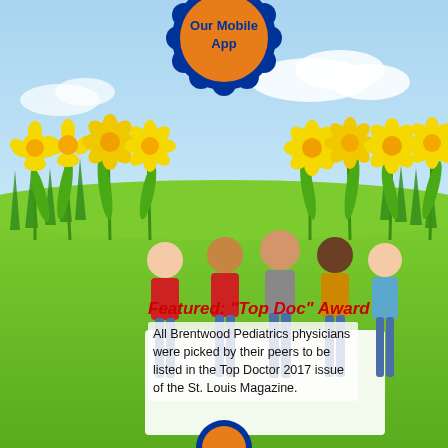[Figure (illustration): Colorful spring scene with sky, clouds, yellow daffodils/flowers, green grass, and five children holding a large white banner. A decorative flower-shaped badge at top center reads 'Our Mobile App' with blue scalloped border and orange center.]
Featured: "Top Doc" Award
All Brentwood Pediatrics physicians were picked by their peers to be listed in the Top Doctor 2017 issue of the St. Louis Magazine.